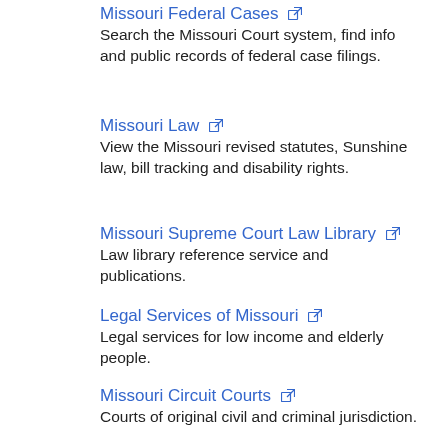Missouri Federal Cases
Search the Missouri Court system, find info and public records of federal case filings.
Missouri Law
View the Missouri revised statutes, Sunshine law, bill tracking and disability rights.
Missouri Supreme Court Law Library
Law library reference service and publications.
Legal Services of Missouri
Legal services for low income and elderly people.
Missouri Circuit Courts
Courts of original civil and criminal jurisdiction.
Missouri Pending Cases and Decisions
Track cases, dockets and oral arguments.
Missouri Municipal Court
Find a municipal court in Missouri.
Search for Judgments and Liens
Missouri public access to court records and information.
Missouri Marriages and Divorces
Marriage licenses and divorce decrees.